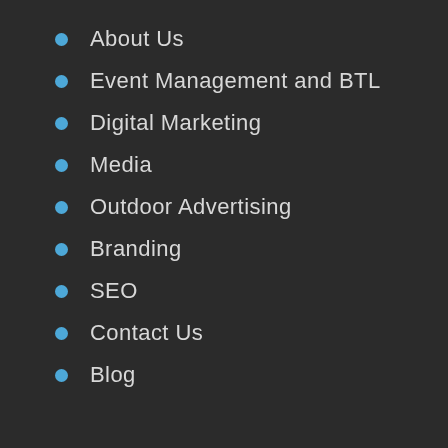About Us
Event Management and BTL
Digital Marketing
Media
Outdoor Advertising
Branding
SEO
Contact Us
Blog